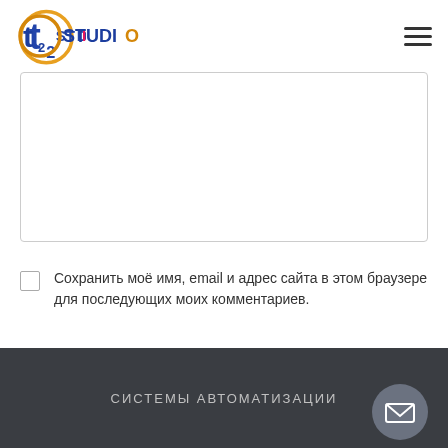T2 STUDIO
[Figure (illustration): Empty textarea input field with light gray border]
Сохранить моё имя, email и адрес сайта в этом браузере для последующих моих комментариев.
Отправить комментарий
СИСТЕМЫ АВТОМАТИЗАЦИИ